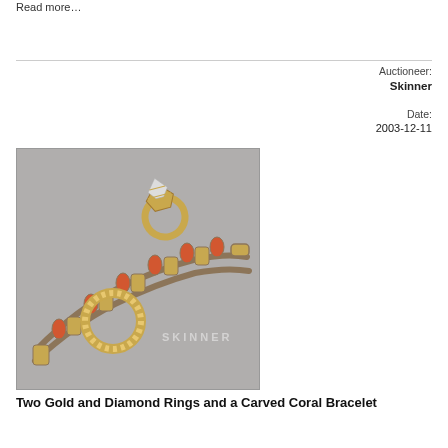Read more…
Auctioneer:
Skinner
Date:
2003-12-11
[Figure (photo): Two gold rings and a carved coral bracelet with orange coral stones set in gold-toned metal links, photographed on a grey background with Skinner watermark.]
Two Gold and Diamond Rings and a Carved Coral Bracelet